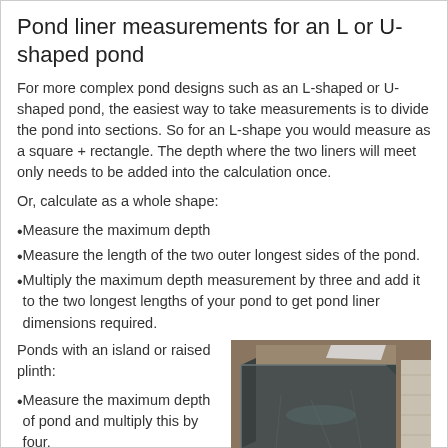Pond liner measurements for an L or U-shaped pond
For more complex pond designs such as an L-shaped or U-shaped pond, the easiest way to take measurements is to divide the pond into sections. So for an L-shape you would measure as a square + rectangle. The depth where the two liners will meet only needs to be added into the calculation once.
Or, calculate as a whole shape:
Measure the maximum depth
Measure the length of the two outer longest sides of the pond.
Multiply the maximum depth measurement by three and add it to the two longest lengths of your pond to get pond liner dimensions required.
Ponds with an island or raised plinth:
Measure the maximum depth of pond and multiply this by four.
[Figure (photo): Photo of a rectangular pond lined with dark grey/black pond liner, viewed from above at an angle, showing the liner folded neatly at the corners with soil visible behind.]